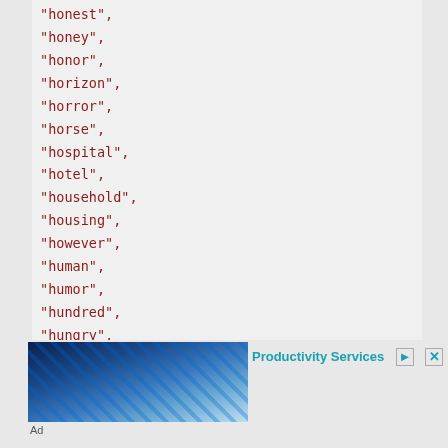"honest",
"honey",
"honor",
"horizon",
"horror",
"horse",
"hospital",
"hotel",
"household",
"housing",
"however",
"human",
"humor",
"hundred",
"hungry",
"hunter",
"husband",
"hypothesis",
"ideal",
"identification",
"identity",
[Figure (photo): Industrial machinery photo, blue-toned engineering equipment in a factory setting]
Productivity Services
Ad